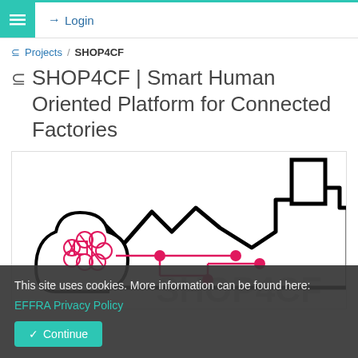≡  Login
Projects / SHOP4CF
SHOP4CF | Smart Human Oriented Platform for Connected Factories
[Figure (illustration): Stylized factory building outline with a human head silhouette containing a brain network, connected by pink circuit-like lines with nodes, and 'SHOP4CF' watermark text in background]
This site uses cookies. More information can be found here:
EFFRA Privacy Policy
Continue